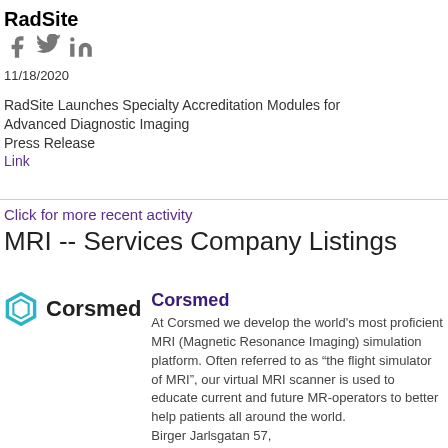RadSite
[Figure (logo): Social media icons: Facebook, Twitter, LinkedIn in grey]
11/18/2020
RadSite Launches Specialty Accreditation Modules for Advanced Diagnostic Imaging
Press Release
Link
Click for more recent activity
MRI -- Services Company Listings
[Figure (logo): Corsmed logo: teal hexagon outline icon followed by bold text 'Corsmed']
Corsmed
At Corsmed we develop the world’s most proficient MRI (Magnetic Resonance Imaging) simulation platform. Often referred to as “the flight simulator of MRI”, our virtual MRI scanner is used to educate current and future MR-operators to better help patients all around the world.
Birger Jarlsgatan 57,